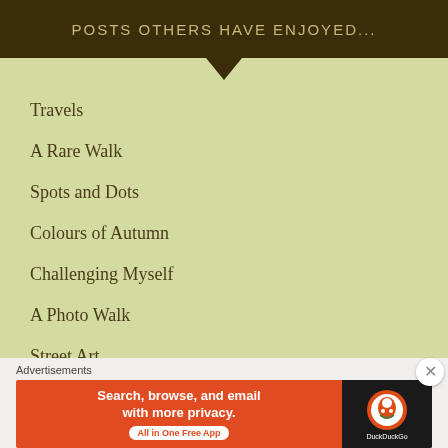POSTS OTHERS HAVE ENJOYED...
Travels
A Rare Walk
Spots and Dots
Colours of Autumn
Challenging Myself
A Photo Walk
Street Art
The Reclusive Writer
Beautiful Details
Advertisements
[Figure (screenshot): DuckDuckGo advertisement banner: 'Search, browse, and email with more privacy. All in One Free App' with DuckDuckGo logo on dark background]